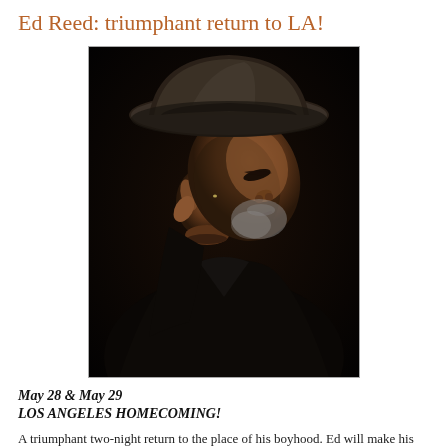Ed Reed: triumphant return to LA!
[Figure (photo): Dark studio portrait of an elderly Black man wearing a wide-brimmed dark hat, tilting his head down with eyes closed, hand raised near the brim of the hat. Dramatic low-key lighting against a near-black background.]
May 28 & May 29
LOS ANGELES HOMECOMING!
A triumphant two-night return to the place of his boyhood. Ed will make his